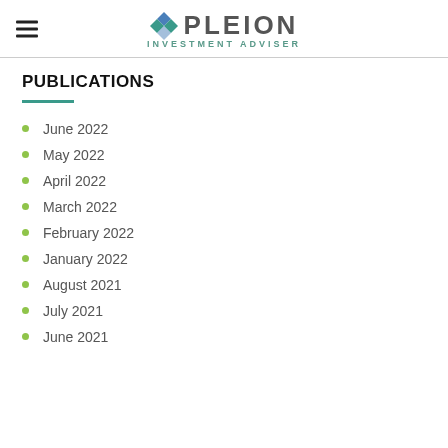PLEION INVESTMENT ADVISER
PUBLICATIONS
June 2022
May 2022
April 2022
March 2022
February 2022
January 2022
August 2021
July 2021
June 2021